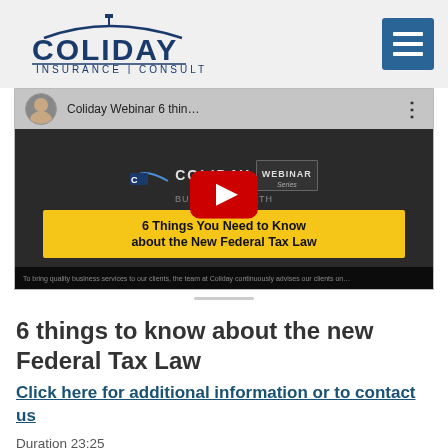[Figure (logo): Coliday Insurance | Consulting logo with navy text and decorative arc]
[Figure (screenshot): YouTube video thumbnail for Coliday Webinar titled '6 Things You Need to Know about the New Federal Tax Law' with red play button overlay]
6 things to know about the new Federal Tax Law
Click here for additional information or to contact us
Duration 23:25
Recorded: 4-26-19